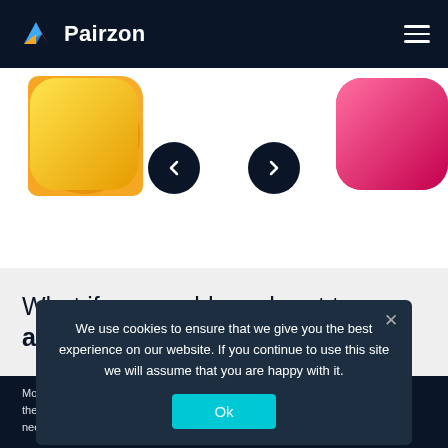Pairzon
[Figure (illustration): Slider section with yellow rounded shape on the left, pink/magenta rounded shape on the right, and two dark circular navigation buttons (left arrow and right arrow) in the center]
What if you could reach out to your anonymous in-store customers?
Most retailers know how to reach out to their online identities, so they can target their digital marketing campaigns for maximum reach and conversion. But most need to include you!
We use cookies to ensure that we give you the best experience on our website. If you continue to use this site we will assume that you are happy with it.